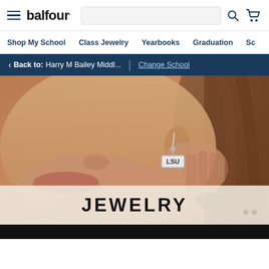balfour. — navigation bar with hamburger menu, search bar, search icon, cart icon
Shop My School | Class Jewelry | Yearbooks | Graduation | Sc...
< Back to: Harry M Bailey Middl... | Change School
[Figure (photo): Close-up photo of a woman wearing an LSU silver earring, with a 'JEWELRY' text overlay at the bottom of the image]
[Figure (photo): Bottom edge of a dark image, partially visible]